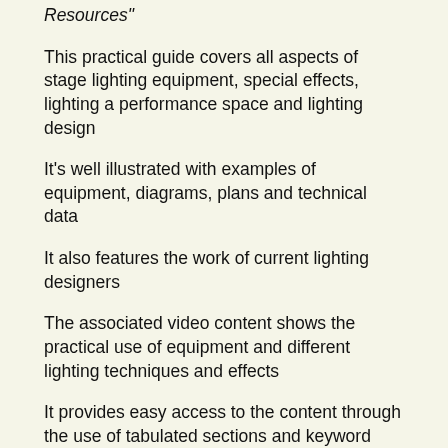Resources"
This practical guide covers all aspects of stage lighting equipment, special effects, lighting a performance space and lighting design
It's well illustrated with examples of equipment, diagrams, plans and technical data
It also features the work of current lighting designers
The associated video content shows the practical use of equipment and different lighting techniques and effects
It provides easy access to the content through the use of tabulated sections and keyword headings
The information in each chapter is presented at three levels which run visually throughout the guide and direct students to review and extend their